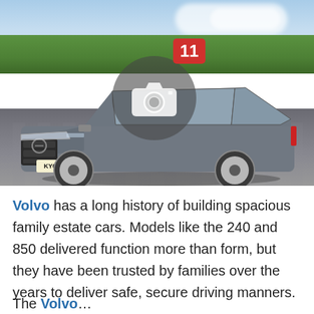[Figure (photo): A grey Volvo V90 estate car driving on a road, with blurred background of trees and sky. A camera icon with the number 11 badge overlay is displayed in the center of the image, indicating a photo gallery with 11 images. The car's registration plate reads KY66 UYM.]
Volvo has a long history of building spacious family estate cars. Models like the 240 and 850 delivered function more than form, but they have been trusted by families over the years to deliver safe, secure driving manners.
The Volvo...